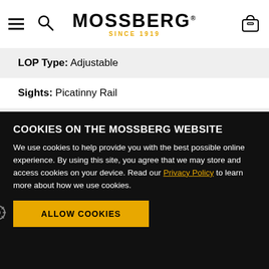MOSSBERG SINCE 1919
| LOP Type: | Adjustable |
| Sights: | Picatinny Rail |
COOKIES ON THE MOSSBERG WEBSITE
We use cookies to help provide you with the best possible online experience. By using this site, you agree that we may store and access cookies on your device. Read our Privacy Policy to learn more about how we use cookies.
ALLOW COOKIES